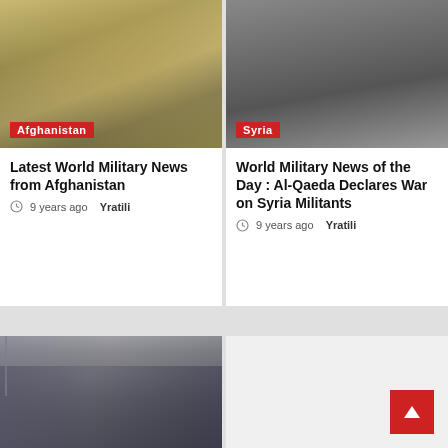[Figure (photo): Military soldiers in desert sand with dust/smoke, Afghanistan]
[Figure (photo): People walking in a grey urban scene, Syria]
Latest World Military News from Afghanistan
9 years ago  Yratili
World Military News of the Day : Al-Qaeda Declares War on Syria Militants
9 years ago  Yratili
[Figure (photo): Damaged or burnt bus/vehicle scene]
[Figure (other): Empty grey area with back-to-top red button]